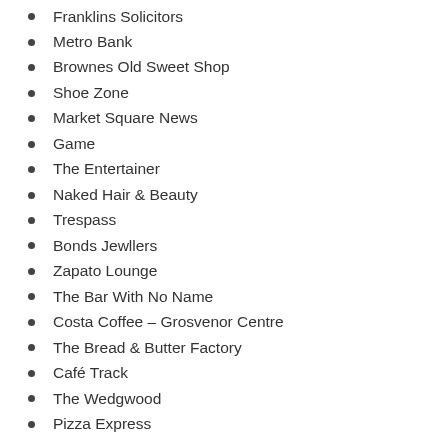Franklins Solicitors
Metro Bank
Brownes Old Sweet Shop
Shoe Zone
Market Square News
Game
The Entertainer
Naked Hair & Beauty
Trespass
Bonds Jewllers
Zapato Lounge
The Bar With No Name
Costa Coffee – Grosvenor Centre
The Bread & Butter Factory
Café Track
The Wedgwood
Pizza Express